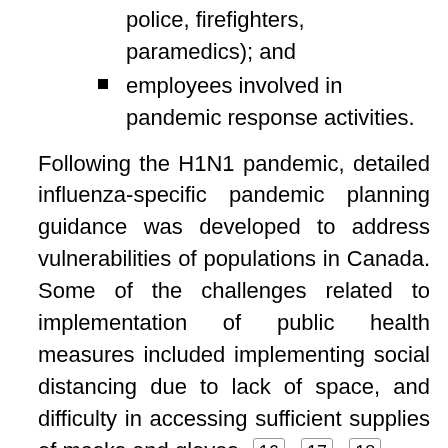police, firefighters, paramedics); and
employees involved in pandemic response activities.
Following the H1N1 pandemic, detailed influenza-specific pandemic planning guidance was developed to address vulnerabilities of populations in Canada. Some of the challenges related to implementation of public health measures included implementing social distancing due to lack of space, and difficulty in accessing sufficient supplies of masks and gloves. 16, 17, 18